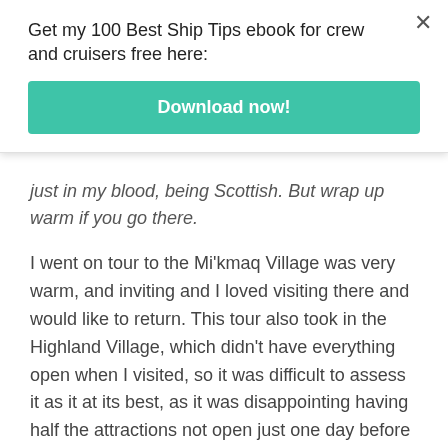Get my 100 Best Ship Tips ebook for crew and cruisers free here:
[Figure (other): Download now! button (teal/green rounded rectangle)]
just in my blood, being Scottish. But wrap up warm if you go there.
I went on tour to the Mi'kmaq Village was very warm, and inviting and I loved visiting there and would like to return. This tour also took in the Highland Village, which didn't have everything open when I visited, so it was difficult to assess it as it at its best, as it was disappointing having half the attractions not open just one day before the “season” began.
I have been to Baddeck twice on tour, once on the full